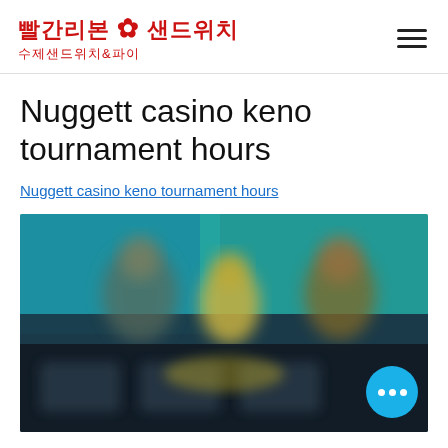빨간리본 샌드위치 수제샌드위치&파이
Nuggett casino keno tournament hours
Nuggett casino keno tournament hours
[Figure (screenshot): Blurred screenshot of a video game or casino-themed interface with teal/green background and character figures]